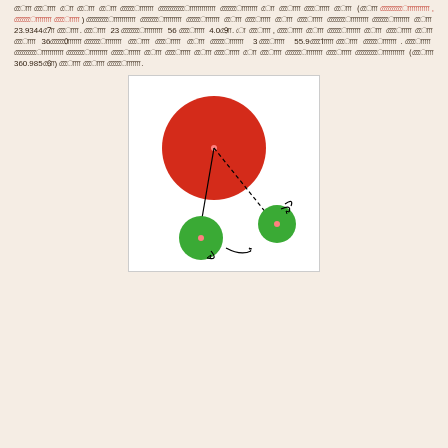redacted text block with numbers 23.93447, 23, 56, 4.09, 360, 3, 55.91, 360.9856
[Figure (illustration): Diagram showing a large red circle with a center dot and two lines (one vertical, one diagonal) extending from its center toward two smaller green circles below. The green circles each have small red center dots. Curved arrows indicate rotation/orbital motion of the green circles around the red one.]